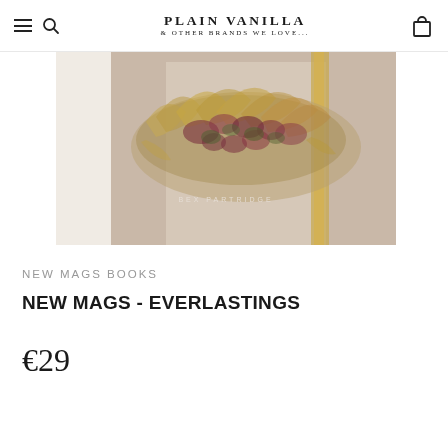PLAIN VANILLA & OTHER BRANDS WE LOVE...
[Figure (photo): A book cover showing a dried floral arrangement hanging against a light wall, with text 'BEX PARTRIDGE' visible on the cover. The image is cropped to show mostly the top portion of the book.]
NEW MAGS BOOKS
NEW MAGS - EVERLASTINGS
€29